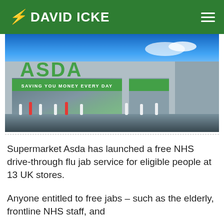DAVID ICKE
[Figure (photo): Exterior photo of an Asda supermarket store with a large green ASDA logo sign on the roof, a green banner reading 'SAVING YOU MONEY EVERY DAY', glass facade, and bollards in the car park foreground.]
Supermarket Asda has launched a free NHS drive-through flu jab service for eligible people at 13 UK stores.
Anyone entitled to free jabs – such as the elderly, frontline NHS staff, and